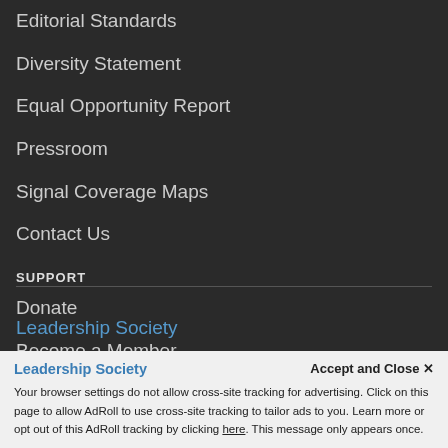Editorial Standards
Diversity Statement
Equal Opportunity Report
Pressroom
Signal Coverage Maps
Contact Us
SUPPORT
Donate
Become a Member
Manage your Membership
Underwriting
Leadership Society
Accept and Close ✕
Your browser settings do not allow cross-site tracking for advertising. Click on this page to allow AdRoll to use cross-site tracking to tailor ads to you. Learn more or opt out of this AdRoll tracking by clicking here. This message only appears once.